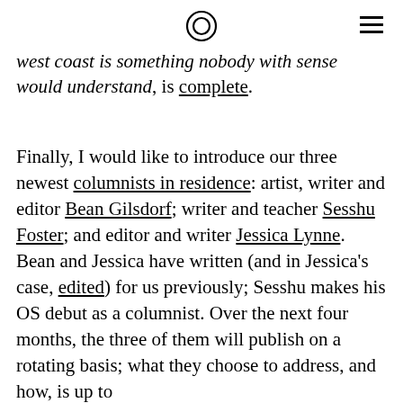[logo icon] [hamburger menu]
west coast is something nobody with sense would understand, is complete.
Finally, I would like to introduce our three newest columnists in residence: artist, writer and editor Bean Gilsdorf; writer and teacher Sesshu Foster; and editor and writer Jessica Lynne. Bean and Jessica have written (and in Jessica's case, edited) for us previously; Sesshu makes his OS debut as a columnist. Over the next four months, the three of them will publish on a rotating basis; what they choose to address, and how, is up to